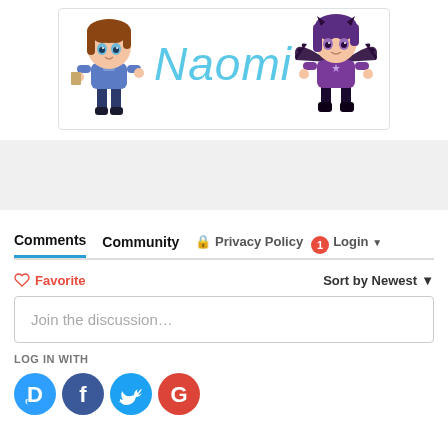[Figure (illustration): Banner with two chibi anime characters flanking the word 'Naomi' in light blue italic script. Left character has brown hair in casual blue outfit, right character has purple hair in dark fantasy outfit with bat wings.]
[Figure (other): Gray advertisement banner placeholder area]
Comments   Community   Privacy Policy   1   Login
♡ Favorite   Sort by Newest
Join the discussion...
LOG IN WITH
[Figure (other): Social login icons: Disqus (blue speech bubble D), Facebook (blue circle f), Twitter (light blue circle bird), Google (red circle G)]